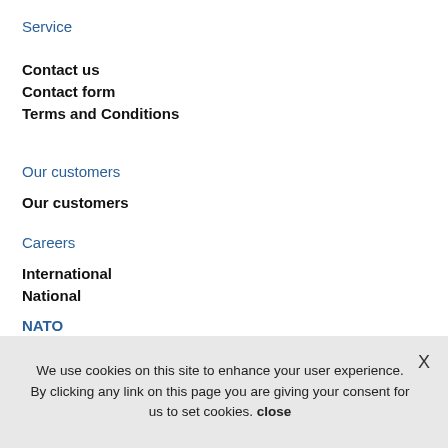Service
Contact us
Contact form
Terms and Conditions
Our customers
Our customers
Careers
International
National
NATO
[Figure (logo): NATO logo — blue and black rectangle with compass-star emblem on left and 'NATO' text on right]
We use cookies on this site to enhance your user experience. By clicking any link on this page you are giving your consent for us to set cookies. close